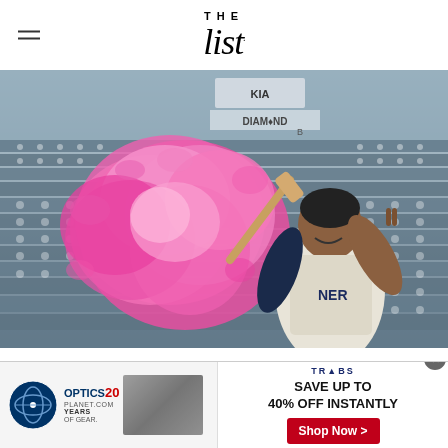THE List
[Figure (photo): A baseball player in a Mariners uniform swinging a bat, hitting a pink powder explosion in a stadium with empty blue-gray seats in the background.]
Christian Colón — a professional baseball player who
OPTICS 20 PLANET.COM YEARS OF GEAR. TRYBS SAVE UP TO 40% OFF INSTANTLY Shop Now >